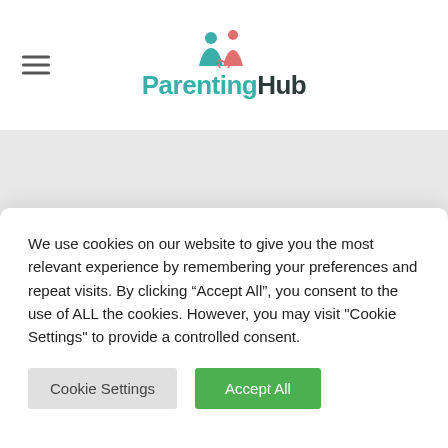[Figure (logo): ParentingHub logo with teal and salmon colored icon above text. Hamburger menu icon on left.]
FAMILY CARS Archive
HOME > FAMILY CARS
We use cookies on our website to give you the most relevant experience by remembering your preferences and repeat visits. By clicking “Accept All”, you consent to the use of ALL the cookies. However, you may visit "Cookie Settings" to provide a controlled consent.